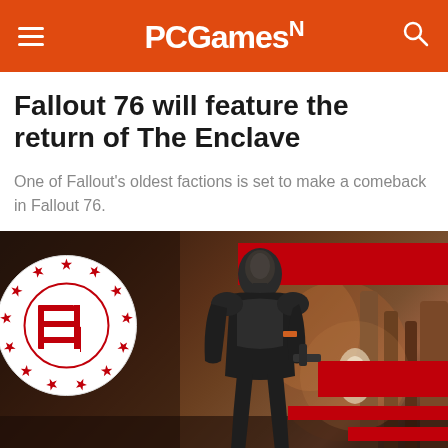PCGamesN
Fallout 76 will feature the return of The Enclave
One of Fallout's oldest factions is set to make a comeback in Fallout 76.
[Figure (photo): Composite image showing the Enclave faction logo (circular emblem with red stars and a stylized E) overlaid on a dark game screenshot of a character in armor inside an industrial setting, with red graphic bars on the right side.]